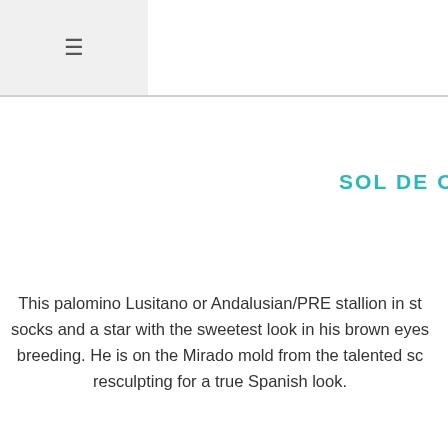≡
SOL DE OR
This palomino Lusitano or Andalusian/PRE stallion in st socks and a star with the sweetest look in his brown eyes breeding. He is on the Mirado mold from the talented sc resculpting for a true Spanish look.
CHAMPAN
Champan is a custom on the Mirado mold sculpted by M more Iberian look and his long mane is now on the rig acrylics to highlight his glowing champagne color with a n